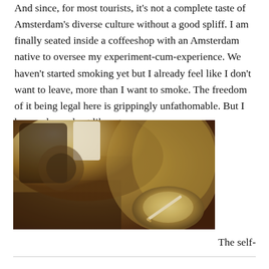And since, for most tourists, it's not a complete taste of Amsterdam's diverse culture without a good spliff. I am finally seated inside a coffeeshop with an Amsterdam native to oversee my experiment-cum-experience. We haven't started smoking yet but I already feel like I don't want to leave, more than I want to smoke. The freedom of it being legal here is grippingly unfathomable. But I keep calm and act like a trooper.
[Figure (photo): Sepia-toned close-up photo of what appears to be a turntable or mechanical device with an ashtray containing a cigarette in the lower right.]
The self-